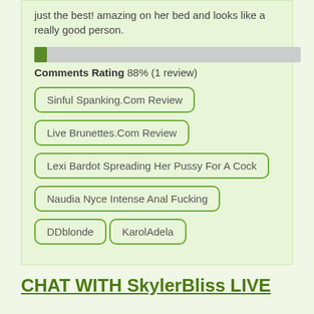just the best! amazing on her bed and looks like a really good person.
Comments Rating 88% (1 review)
Sinful Spanking.Com Review
Live Brunettes.Com Review
Lexi Bardot Spreading Her Pussy For A Cock
Naudia Nyce Intense Anal Fucking
DDblonde
KarolAdela
CHAT WITH SkylerBliss LIVE